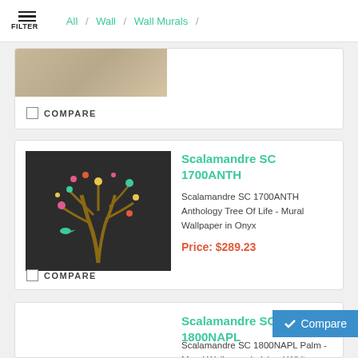FILTER / All / Wall / Wall Murals /
COMPARE
Scalamandre SC 1700ANTH
Scalamandre SC 1700ANTH Anthology Tree Of Life - Mural Wallpaper in Onyx
Price: $289.23
COMPARE
Scalamandre SC 1800NAPL
Scalamandre SC 1800NAPL Palm - Mural Wallpaper in Island White
Compare